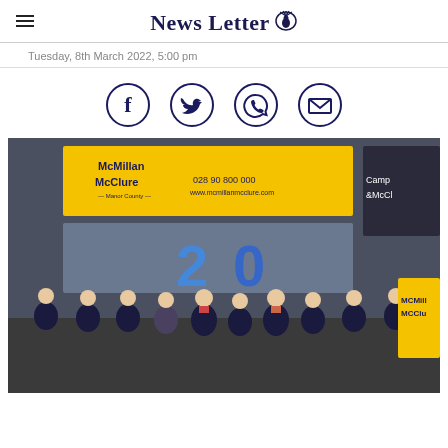News Letter
Tuesday, 8th March 2022, 5:00 pm
[Figure (infographic): Social media sharing icons: Facebook, Twitter, WhatsApp, Email — all in dark navy blue circle outlines]
[Figure (photo): Group photo of McMillan McClure estate agents staff outside their office with a yellow sign. Staff are holding blue '20' balloon numbers celebrating 20 years. Sign shows 028 90 800 000 and www.mcmillanmcclure.com. A second sign for Campbell & McClure is partially visible on the right.]